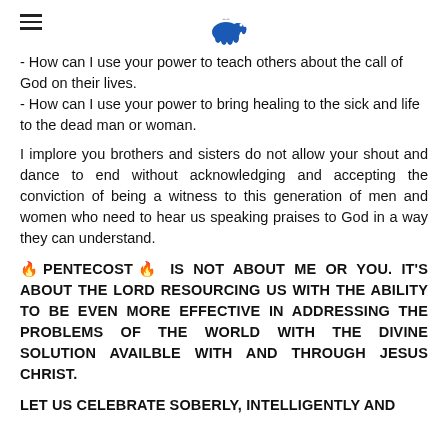[hamburger menu] [logo]
- How can I use your power to teach others about the call of God on their lives.
- How can I use your power to bring healing to the sick and life to the dead man or woman.
I implore you brothers and sisters do not allow your shout and dance to end without acknowledging and accepting the conviction of being a witness to this generation of men and women who need to hear us speaking praises to God in a way they can understand.
🔥PENTECOST🔥 IS NOT ABOUT ME OR YOU. IT'S ABOUT THE LORD RESOURCING US WITH THE ABILITY TO BE EVEN MORE EFFECTIVE IN ADDRESSING THE PROBLEMS OF THE WORLD WITH THE DIVINE SOLUTION AVAILBLE WITH AND THROUGH JESUS CHRIST.
LET US CELEBRATE SOBERLY, INTELLIGENTLY AND